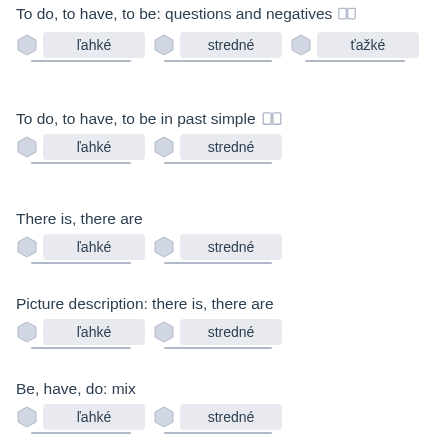To do, to have, to be: questions and negatives
ľahké   stredné   ťažké
To do, to have, to be in past simple
ľahké   stredné
There is, there are
ľahké   stredné
Picture description: there is, there are
ľahké   stredné
Be, have, do: mix
ľahké   stredné